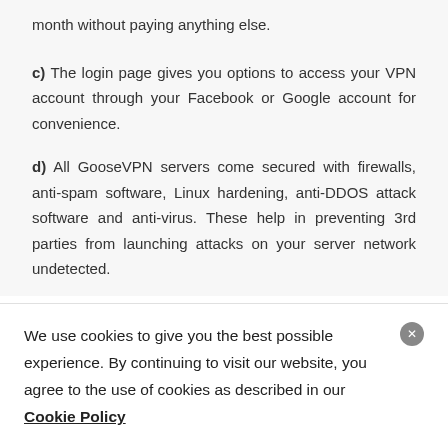month without paying anything else.
c) The login page gives you options to access your VPN account through your Facebook or Google account for convenience.
d) All GooseVPN servers come secured with firewalls, anti-spam software, Linux hardening, anti-DDOS attack software and anti-virus. These help in preventing 3rd parties from launching attacks on your server network undetected.
We use cookies to give you the best possible experience. By continuing to visit our website, you agree to the use of cookies as described in our Cookie Policy